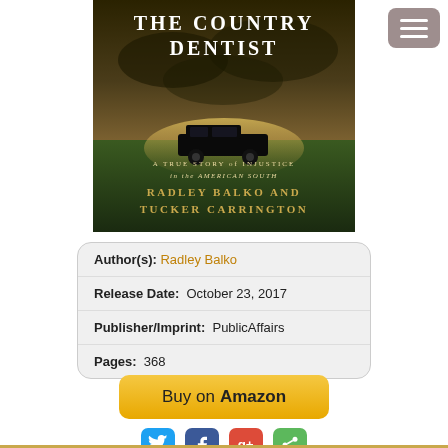[Figure (illustration): Book cover of 'The Country Dentist: A True Story of Injustice in the American South' by Radley Balko and Tucker Carrington. Shows a hearse on a field under stormy skies.]
| Author(s): | Radley Balko |
| Release Date: | October 23, 2017 |
| Publisher/Imprint: | PublicAffairs |
| Pages: | 368 |
Buy on Amazon
[Figure (other): Social sharing icons: Twitter, Facebook, Google+, Share]